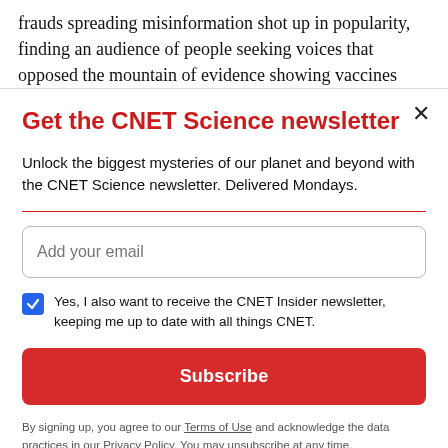frauds spreading misinformation shot up in popularity, finding an audience of people seeking voices that opposed the mountain of evidence showing vaccines
Get the CNET Science newsletter
Unlock the biggest mysteries of our planet and beyond with the CNET Science newsletter. Delivered Mondays.
Add your email
Yes, I also want to receive the CNET Insider newsletter, keeping me up to date with all things CNET.
Subscribe
By signing up, you agree to our Terms of Use and acknowledge the data practices in our Privacy Policy. You may unsubscribe at any time.